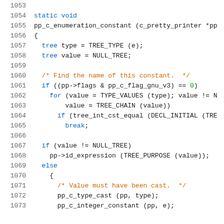Source code listing lines 1053-1073 showing pp_c_enumeration_constant function implementation in C
1053
1054  static void
1055  pp_c_enumeration_constant (c_pretty_printer *pp
1056  {
1057    tree type = TREE_TYPE (e);
1058    tree value = NULL_TREE;
1059
1060    /* Find the name of this constant. */
1061    if ((pp->flags & pp_c_flag_gnu_v3) == 0)
1062      for (value = TYPE_VALUES (type); value != N
1063          value = TREE_CHAIN (value))
1064        if (tree_int_cst_equal (DECL_INITIAL (TRE
1065          break;
1066
1067    if (value != NULL_TREE)
1068      pp->id_expression (TREE_PURPOSE (value));
1069    else
1070      {
1071        /* Value must have been cast. */
1072        pp_c_type_cast (pp, type);
1073        pp_c_integer_constant (pp, e);